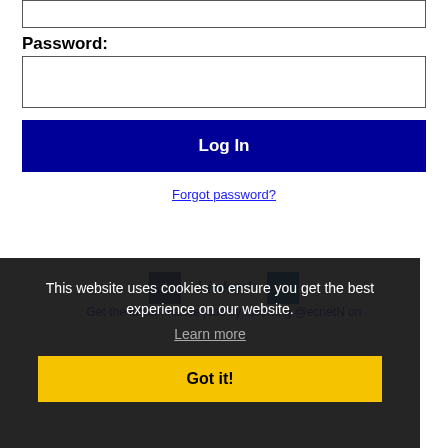Password:
[Figure (screenshot): Password input field (empty text box)]
[Figure (screenshot): Log In button - dark navy blue background with white bold text]
Forgot password?
[Figure (screenshot): Facebook and LinkedIn social login icons with LinkedIn text]
Get the latest finance jobs by following @ecnetN on
Gary PSG job feeds
This website uses cookies to ensure you get the best experience on our website.
Learn more
Got it!